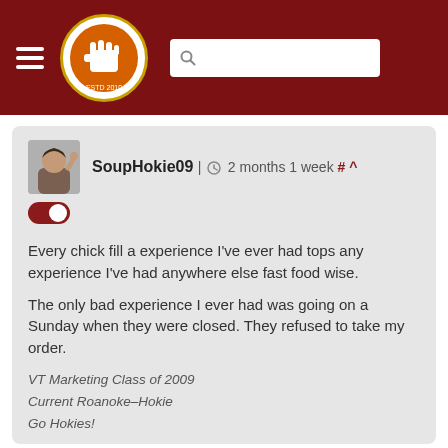The Key Play - navigation header with logo and search
SoupHokie09 | 2 months 1 week # ^
Every chick fill a experience I've ever had tops any experience I've had anywhere else fast food wise.

The only bad experience I ever had was going on a Sunday when they were closed. They refused to take my order.
VT Marketing Class of 2009
Current Roanoke-Hokie
Go Hokies!
Log in or register to post comments about the Virginia Tech Hokies